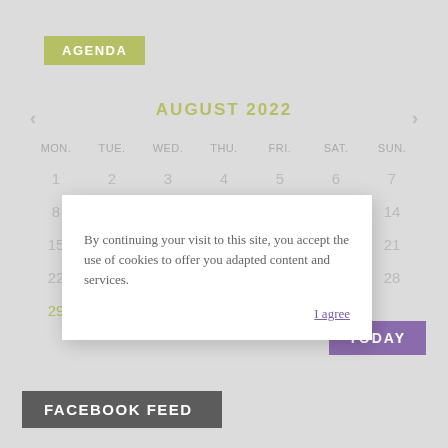AGENDA
AUGUST 2022
| MON. | TUE. | WED. | THU. | FRI. | SAT. | SUN. |
| --- | --- | --- | --- | --- | --- | --- |
| 1 | 2 | 3 | 4 | 5 | 6 | 7 |
| 8 |  |  |  |  |  | 14 |
| 15 |  |  |  |  |  | 21 |
| 22 |  |  |  |  |  | 28 |
| 29 | 30 | 31 |  |  |  |  |
By continuing your visit to this site, you accept the use of cookies to offer you adapted content and services.
I agree
TODAY
FACEBOOK FEED